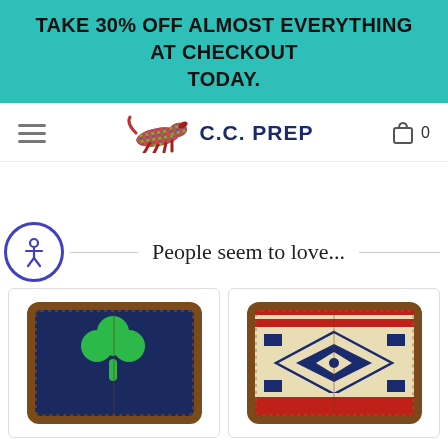TAKE 30% OFF ALMOST EVERYTHING AT CHECKOUT TODAY.
[Figure (logo): C.C. PREP logo with colorful running dog and navy text]
People seem to love...
[Figure (photo): Needlepoint bifold wallet with green shamrock on navy background and brown leather trim]
[Figure (photo): Needlepoint bifold wallet with southwestern/aztec geometric pattern in navy and cream with red stripe border and brown leather trim]